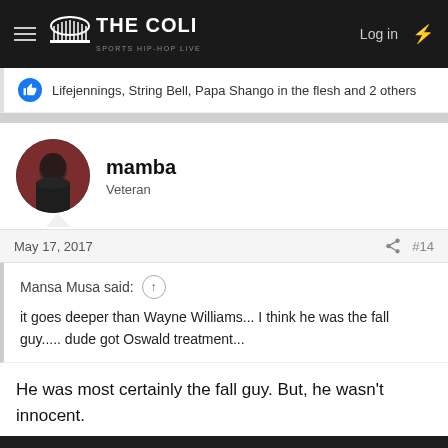THE COLI — Log in
Lifejennings, String Bell, Papa Shango in the flesh and 2 others
mamba
Veteran
May 17, 2017   #14
Mansa Musa said: ↑
it goes deeper than Wayne Williams... I think he was the fall guy..... dude got Oswald treatment...
He was most certainly the fall guy. But, he wasn't innocent.
This site uses cookies to help personalise content, tailor your experience and to keep you logged in if you register.
By continuing to use this site, you are consenting to our use of cookies.
Accept   Learn more...